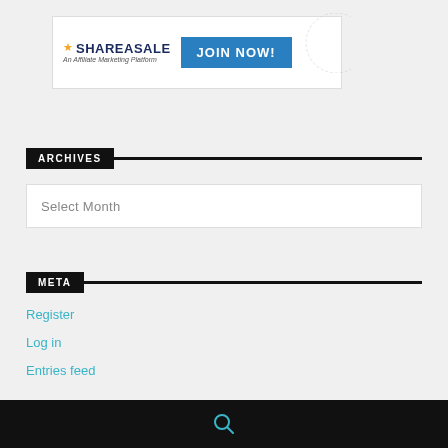[Figure (logo): ShareASale affiliate marketing platform banner ad with 'JOIN NOW!' button]
ARCHIVES
Select Month
META
Register
Log in
Entries feed
search icon